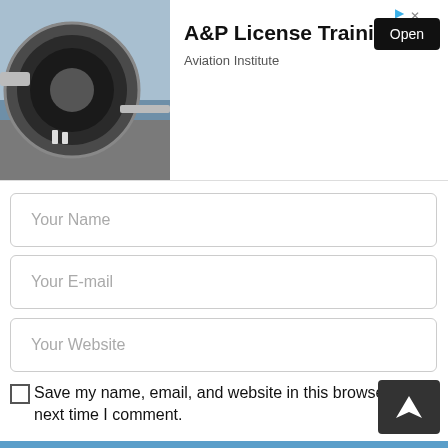[Figure (screenshot): Advertisement banner for A&P License Training by Aviation Institute, showing a jet engine image on the left, bold title text, and an 'Open' button on the right.]
Your Name
Your E-mail
Your Website
Save my name, email, and website in this browser for the next time I comment.
Post Comment